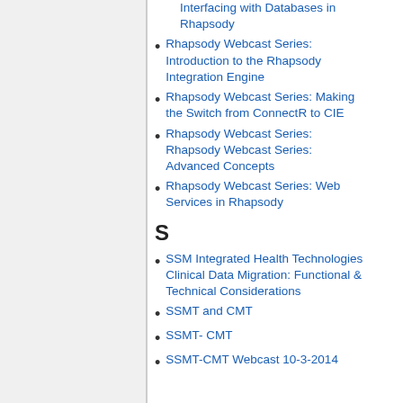Interfacing with Databases in Rhapsody
Rhapsody Webcast Series: Introduction to the Rhapsody Integration Engine
Rhapsody Webcast Series: Making the Switch from ConnectR to CIE
Rhapsody Webcast Series: Rhapsody Webcast Series: Advanced Concepts
Rhapsody Webcast Series: Web Services in Rhapsody
S
SSM Integrated Health Technologies Clinical Data Migration: Functional & Technical Considerations
SSMT and CMT
SSMT- CMT
SSMT-CMT Webcast 10-3-2014